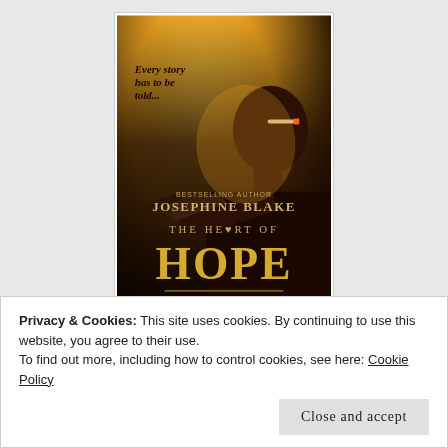[Figure (illustration): Book cover of 'The Heart of Hope' by Josephine Blake (Bestselling Author). Golden/yellow dramatic background with silhouette of a man holding a gun and with a cigarette. Text: 'Every story has to be told...' at top, 'BESTSELLING AUTHOR JOSEPHINE BLAKE', 'THE HEART OF HOPE', 'A COMPANION TALE' at bottom.]
Privacy & Cookies: This site uses cookies. By continuing to use this website, you agree to their use.
To find out more, including how to control cookies, see here: Cookie Policy
Close and accept